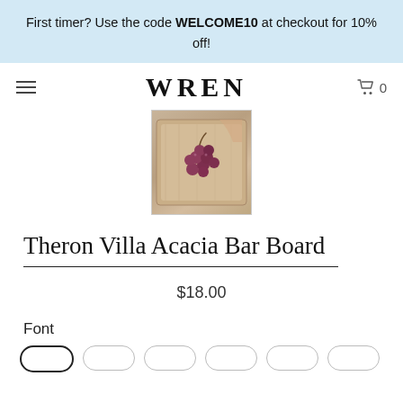First timer? Use the code WELCOME10 at checkout for 10% off!
WREN  0
[Figure (photo): Product photo of an acacia wood bar board with grapes and other items on it, viewed from above.]
Theron Villa Acacia Bar Board
$18.00
Font